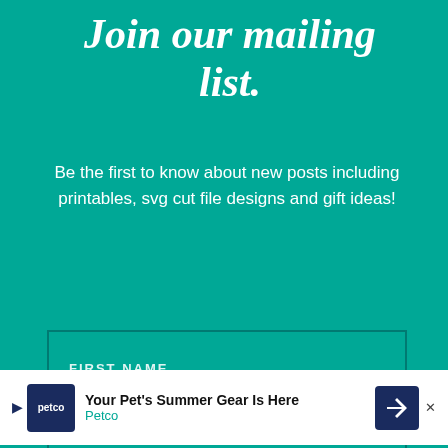Join our mailing list.
Be the first to know about new posts including printables, svg cut file designs and gift ideas!
FIRST NAME
LAST NAME
EMAIL ADDRESS
Privacy & Cookies: This site uses cookies. By continuing to use this website, you agree to their use.
To find out more, including how to control cookies, see here: Cookie Policy
[Figure (infographic): Petco advertisement banner: 'Your Pet's Summer Gear Is Here' with Petco logo and navigation arrow icon]